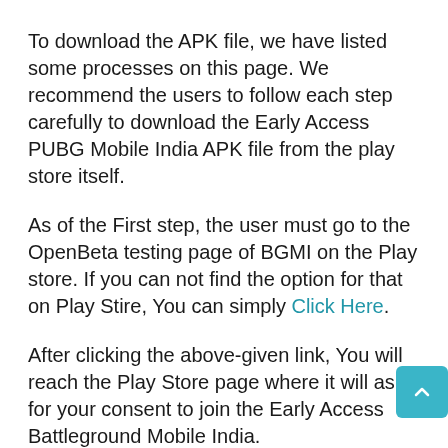To download the APK file, we have listed some processes on this page. We recommend the users to follow each step carefully to download the Early Access PUBG Mobile India APK file from the play store itself.
As of the First step, the user must go to the OpenBeta testing page of BGMI on the Play store. If you can not find the option for that on Play Stire, You can simply Click Here.
After clicking the above-given link, You will reach the Play Store page where it will ask for your consent to join the Early Access Battleground Mobile India.